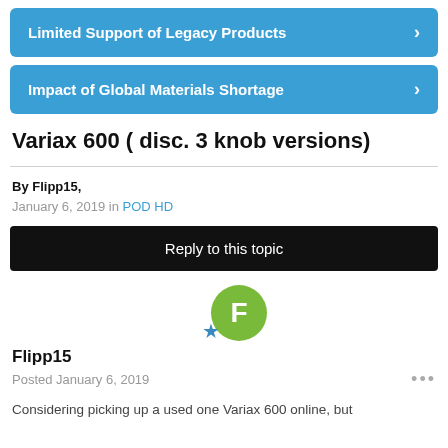Limited Support of Legacy Products
Impact of Global Materials Shortage
Variax 600 ( disc. 3 knob versions)
By Flipp15,
January 6, 2019 in POD HD
Reply to this topic
[Figure (illustration): User avatar circle with letter F in green, with a small blue star/badge icon]
Flipp15
Posted January 6, 2019
Considering picking up a used one Variax 600 online, but